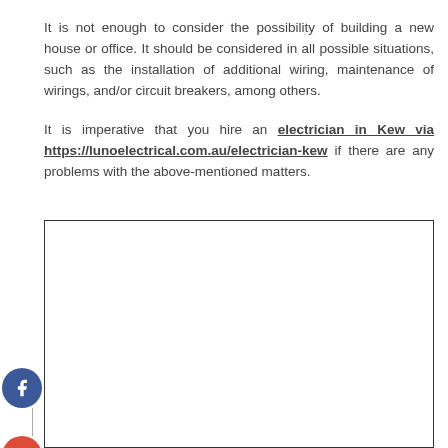It is not enough to consider the possibility of building a new house or office. It should be considered in all possible situations, such as the installation of additional wiring, maintenance of wirings, and/or circuit breakers, among others.
It is imperative that you hire an electrician in Kew via https://lunoelectrical.com.au/electrician-kew if there are any problems with the above-mentioned matters.
[Figure (other): Empty white box with black border, with social media sharing icons (Facebook, Google+, Twitter, Add) on the left side]